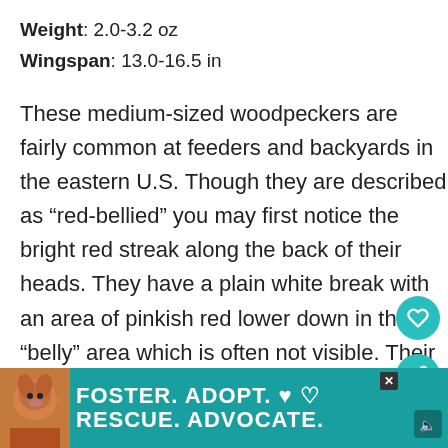Weight: 2.0-3.2 oz
Wingspan: 13.0-16.5 in
These medium-sized woodpeckers are fairly common at feeders and backyards in the eastern U.S. Though they are described as “red-bellied” you may first notice the bright red streak along the back of their heads. They have a plain white break with an area of pinkish red lower down in their “belly” area which is often not visible. Their wings are what makes them easy to identify though, with
[Figure (infographic): What's Next widget showing a bird thumbnail with text '26 Backyard Birds In...']
[Figure (infographic): Advertisement banner: FOSTER. ADOPT. RESCUE. ADVOCATE. with dog photo on teal background]